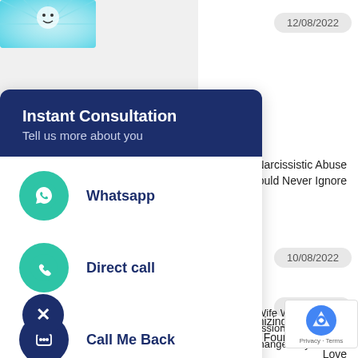[Figure (screenshot): Thumbnail image top left with blue/light blue background]
12/08/2022
[Figure (infographic): Instant Consultation modal card with WhatsApp, Direct call, and Call Me Back options]
Narcissistic Abuse
ould Never Ignore
10/08/2022
onizing Narcissistic
l Found True Self-Love
09/08/2022
My Wife Was Showing S
Depression & Her Refusal
Therapy Changed My Life Fo...
[Figure (illustration): Bottom left thumbnail with yellow background and illustration of couple]
[Figure (logo): reCAPTCHA badge with logo and Privacy · Terms text]